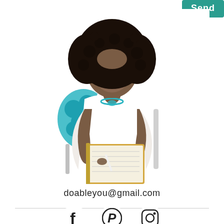[Figure (screenshot): A teal/green 'Send' button in the top-right corner of the page]
[Figure (photo): A smiling young Black woman with curly hair, wearing a white sleeveless top and a teal necklace, sitting in a chair with a teal floral cushion, writing in a notebook/planner. Studio photo with white background.]
doableyou@gmail.com
[Figure (infographic): Three social media icons in a row: Facebook (f), Pinterest (P), Instagram (camera icon)]